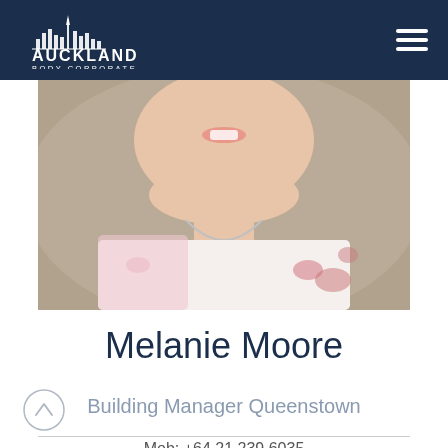Auckland Body Corporate
[Figure (photo): Professional headshot of Melanie Moore, a woman smiling, wearing a floral blouse and silver necklace, photographed outdoors]
Melanie Moore
Building Manager Queenstown
Mob: +64 21 239 6035